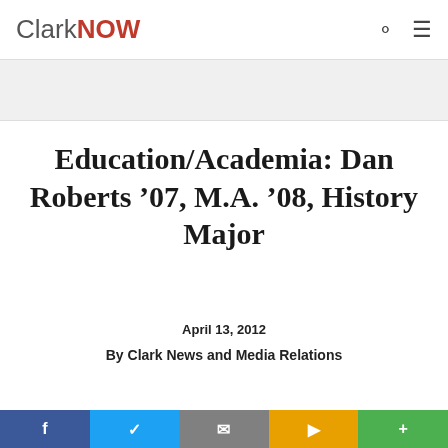ClarkNOW
Education/Academia: Dan Roberts '07, M.A. '08, History Major
April 13, 2012
By Clark News and Media Relations